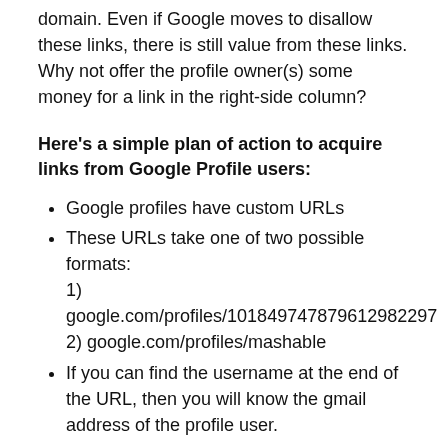domain. Even if Google moves to disallow these links, there is still value from these links. Why not offer the profile owner(s) some money for a link in the right-side column?
Here's a simple plan of action to acquire links from Google Profile users:
Google profiles have custom URLs
These URLs take one of two possible formats: 1) google.com/profiles/101849747879612982297 2) google.com/profiles/mashable
If you can find the username at the end of the URL, then you will know the gmail address of the profile user.
And that is how you can contact them.
Then it all comes down to your ability to not creep people out by offering them money for a link to your network of phentermine and poker websites [cuz those 2 things